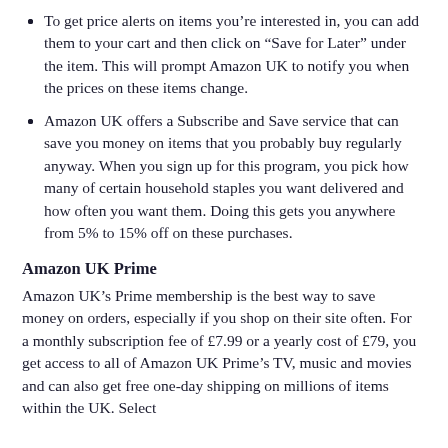To get price alerts on items you’re interested in, you can add them to your cart and then click on “Save for Later” under the item. This will prompt Amazon UK to notify you when the prices on these items change.
Amazon UK offers a Subscribe and Save service that can save you money on items that you probably buy regularly anyway. When you sign up for this program, you pick how many of certain household staples you want delivered and how often you want them. Doing this gets you anywhere from 5% to 15% off on these purchases.
Amazon UK Prime
Amazon UK’s Prime membership is the best way to save money on orders, especially if you shop on their site often. For a monthly subscription fee of £7.99 or a yearly cost of £79, you get access to all of Amazon UK Prime’s TV, music and movies and can also get free one-day shipping on millions of items within the UK. Select